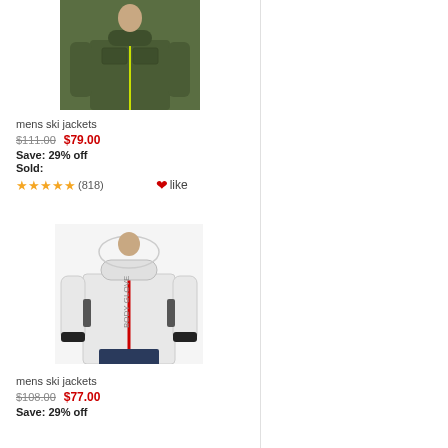[Figure (photo): Dark olive/green mens ski jacket product photo, person wearing it]
mens ski jackets
$111.00  $79.00
Save: 29% off
Sold:
★★★★★ (818)  ❤like
[Figure (photo): White mens ski jacket product photo with red zipper, person wearing it]
mens ski jackets
$108.00  $77.00
Save: 29% off